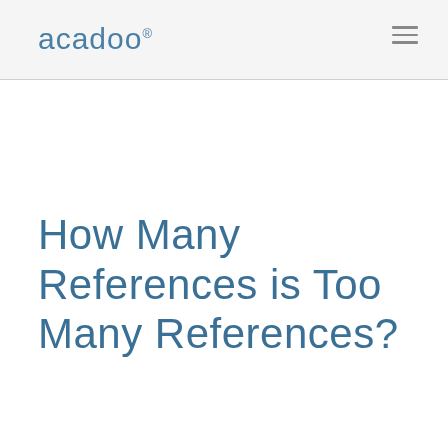acadoo®
How Many References is Too Many References?